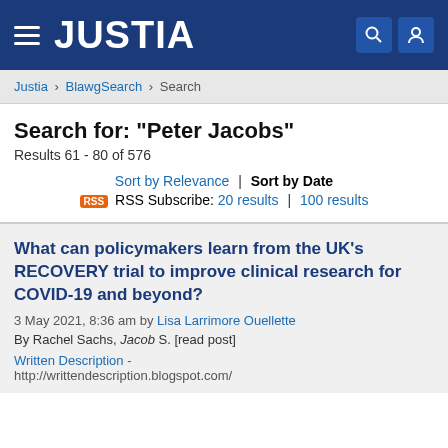JUSTIA
Justia › BlawgSearch › Search
Search for: "Peter Jacobs"
Results 61 - 80 of 576
Sort by Relevance | Sort by Date
RSS Subscribe: 20 results | 100 results
What can policymakers learn from the UK's RECOVERY trial to improve clinical research for COVID-19 and beyond?
3 May 2021, 8:36 am by Lisa Larrimore Ouellette
By Rachel Sachs, Jacob S. [read post]
Written Description -
http://writtendescription.blogspot.com/